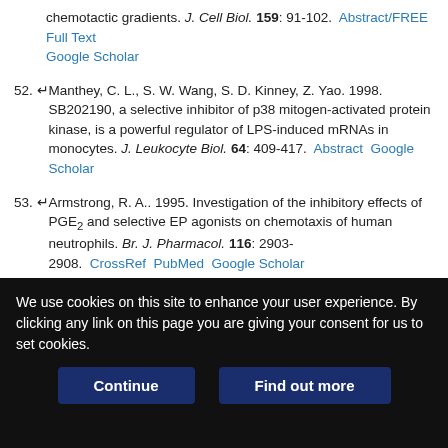chemotactic gradients. J. Cell Biol. 159: 91-102. Abstract/FREE Full Text Google Scholar
52. Manthey, C. L., S. W. Wang, S. D. Kinney, Z. Yao. 1998. SB202190, a selective inhibitor of p38 mitogen-activated protein kinase, is a powerful regulator of LPS-induced mRNAs in monocytes. J. Leukocyte Biol. 64: 409-417. Abstract Google Scholar
53. Armstrong, R. A.. 1995. Investigation of the inhibitory effects of PGE2 and selective EP agonists on chemotaxis of human neutrophils. Br. J. Pharmacol. 116: 2903-2908. CrossRef PubMed Google Scholar
54. Panzer, U., M. Uguccioni. 2004. Prostaglandin E2 modulates the functional responsiveness of human monocytes to chemokines. Eur. J. Immunol. 34: 3682-3689. CrossRef PubMed Google Scholar
55. Legler, D. F., P. Krause, E. Scandella, E. Singer, M. Groettrup. 2006.
We use cookies on this site to enhance your user experience. By clicking any link on this page you are giving your consent for us to set cookies.